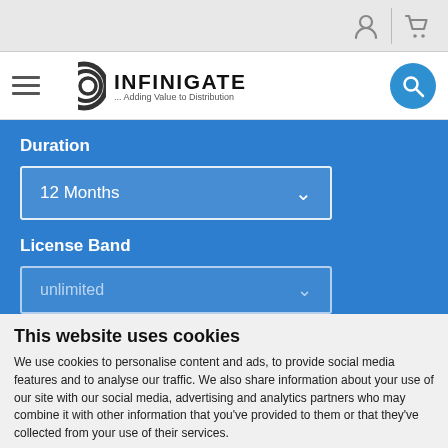[Figure (screenshot): Top navigation bar with user/account icon and shopping cart icon on grey background]
[Figure (logo): Infinigate logo with concentric C shapes and text 'INFINIGATE ... Adding Value to Distribution', hamburger menu on left, blue search button on right]
Duration
12 Months
License Band
unlimited
This website uses cookies
We use cookies to personalise content and ads, to provide social media features and to analyse our traffic. We also share information about your use of our site with our social media, advertising and analytics partners who may combine it with other information that you've provided to them or that they've collected from your use of their services.
Use necessary cookies only
Allow all cookies
Show details